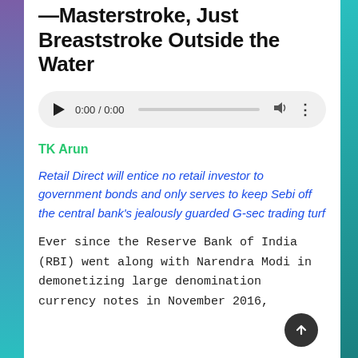Masterstroke, Just Breaststroke Outside the Water
[Figure (other): Audio player UI element showing 0:00 / 0:00 with play button, progress bar, volume icon, and more options icon]
TK Arun
Retail Direct will entice no retail investor to government bonds and only serves to keep Sebi off the central bank's jealously guarded G-sec trading turf
Ever since the Reserve Bank of India (RBI) went along with Narendra Modi in demonetizing large denomination currency notes in November 2016,